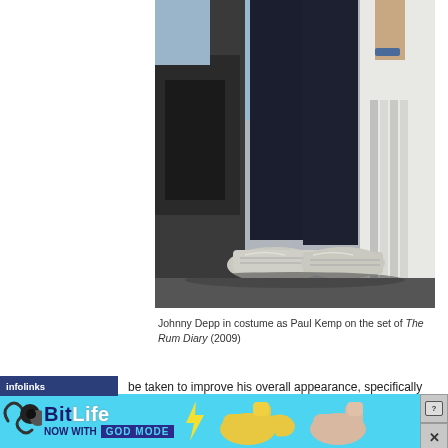[Figure (photo): Photo of Johnny Depp in costume as Paul Kemp on the set of The Rum Diary (2009), showing dark trousers and worn white sneakers, with another person in white clothing visible to the right]
Johnny Depp in costume as Paul Kemp on the set of The Rum Diary (2009)
be taken to improve his overall appearance, specifically sizing
[Figure (screenshot): BitLife advertisement banner with cyan background showing BitLife logo and 'NOW WITH GOD MODE' text, with cartoon hand graphics and close/question buttons]